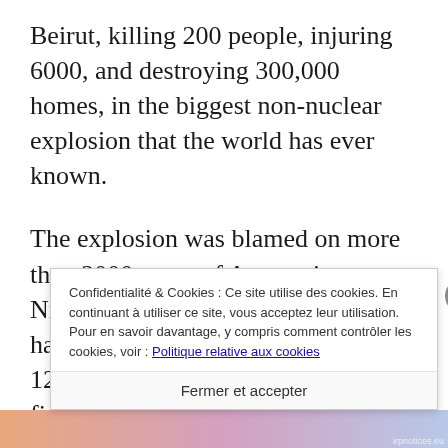Beirut, killing 200 people, injuring 6000, and destroying 300,000 homes, in the biggest non-nuclear explosion that the world has ever known.
The explosion was blamed on more than 2000 tones of Ammonium Nitrate which had been stored haphazardly in warehouse number 12 at The Port of Beirut, close to a fireworks depot t...
Confidentialité & Cookies : Ce site utilise des cookies. En continuant à utiliser ce site, vous acceptez leur utilisation.
Pour en savoir davantage, y compris comment contrôler les cookies, voir : Politique relative aux cookies
Fermer et accepter